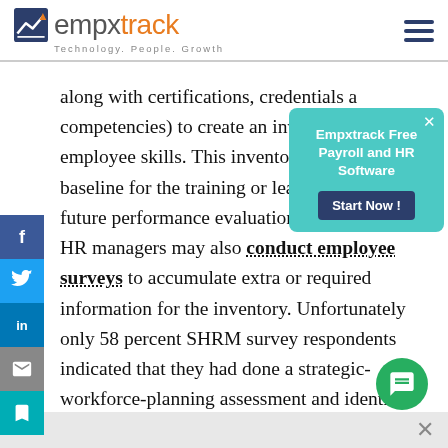empxtrack — Technology. People. Growth.
along with certifications, credentials a… competencies) to create an inventory … employee skills. This inventory may se… baseline for the training or learning go… future performance evaluations. In addition, HR managers may also conduct employee surveys to accumulate extra or required information for the inventory. Unfortunately only 58 percent SHRM survey respondents indicated that they had done a strategic-workforce-planning assessment and identified short term skill gaps and workforce
[Figure (screenshot): Empxtrack Free Payroll and HR Software popup ad with 'Start Now!' button]
[Figure (infographic): Social media sharing sidebar with Facebook, Twitter, LinkedIn, Email, and Save buttons]